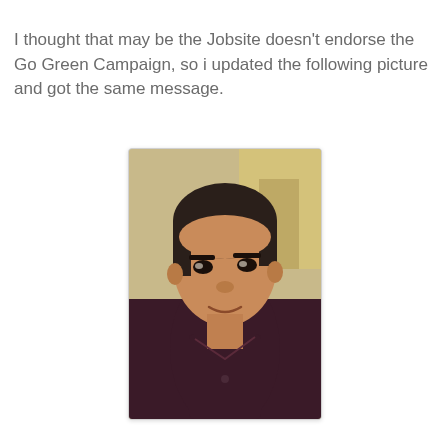I thought that may be the Jobsite doesn't endorse the Go Green Campaign, so i updated the following picture and got the same message.
[Figure (photo): A close-up selfie photo of a young South Asian man with short dark hair, wearing a dark maroon/burgundy collared shirt. He is smiling slightly. The background shows a yellowish wall and what appears to be shelving or furniture. The photo has a white border and slight drop shadow.]